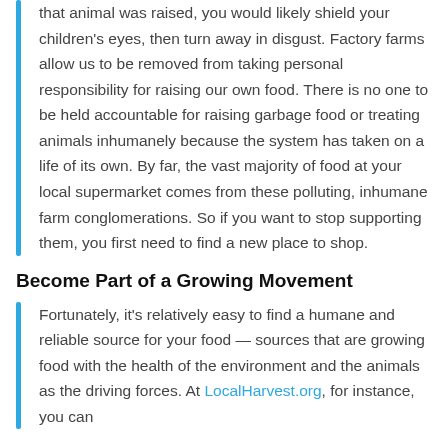that animal was raised, you would likely shield your children's eyes, then turn away in disgust. Factory farms allow us to be removed from taking personal responsibility for raising our own food. There is no one to be held accountable for raising garbage food or treating animals inhumanely because the system has taken on a life of its own. By far, the vast majority of food at your local supermarket comes from these polluting, inhumane farm conglomerations. So if you want to stop supporting them, you first need to find a new place to shop.
Become Part of a Growing Movement
Fortunately, it's relatively easy to find a humane and reliable source for your food — sources that are growing food with the health of the environment and the animals as the driving forces. At LocalHarvest.org, for instance, you can